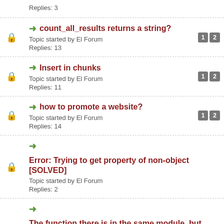Replies: 3
➜ count_all_results returns a string?
Topic started by El Forum
Replies: 13
➜ Insert in chunks
Topic started by El Forum
Replies: 11
➜ how to promote a website?
Topic started by El Forum
Replies: 14
➜ Error: Trying to get property of non-object [SOLVED]
Topic started by El Forum
Replies: 2
➜ The function there is in the same module, but apache gives me Fatal error: Call to undefined function
Topic started by El Forum